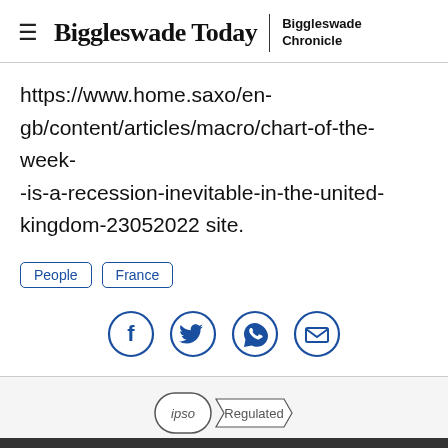Biggleswade Today | Biggleswade Chronicle
https://www.home.saxo/en-gb/content/articles/macro/chart-of-the-week--is-a-recession-inevitable-in-the-united-kingdom-23052022 site.
People
France
[Figure (infographic): Social sharing icons: Facebook, Twitter, WhatsApp, Email — all in dark blue circle outlines]
IPSO Regulated. This website and its associated newspaper are members of Independent Press Standards Organisation (IPSO)